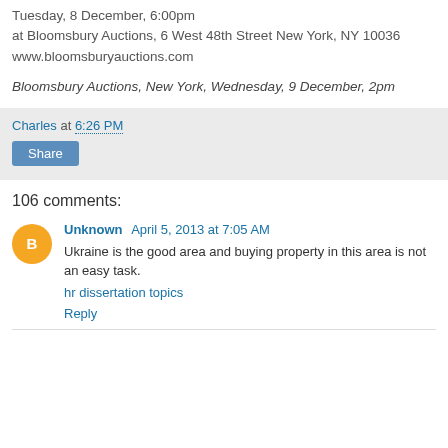Tuesday, 8 December, 6:00pm
at Bloomsbury Auctions, 6 West 48th Street New York, NY 10036
www.bloomsburyauctions.com
Bloomsbury Auctions, New York, Wednesday, 9 December, 2pm
Charles at 6:26 PM
Share
106 comments:
Unknown April 5, 2013 at 7:05 AM
Ukraine is the good area and buying property in this area is not an easy task.
hr dissertation topics
Reply